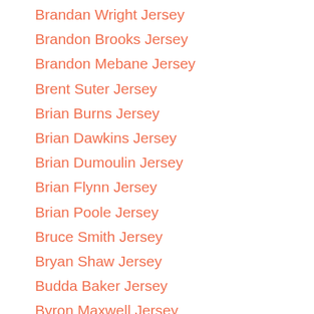Brandan Wright Jersey
Brandon Brooks Jersey
Brandon Mebane Jersey
Brent Suter Jersey
Brian Burns Jersey
Brian Dawkins Jersey
Brian Dumoulin Jersey
Brian Flynn Jersey
Brian Poole Jersey
Bruce Smith Jersey
Bryan Shaw Jersey
Budda Baker Jersey
Byron Maxwell Jersey
Cam Talbot Jersey
Cam Ward Jersey